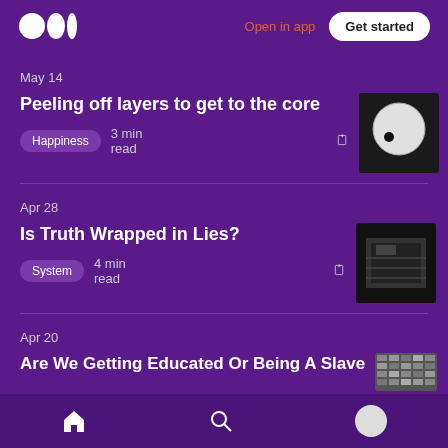Open in app | Get started
May 14
Peeling off layers to get to the core
Happiness  3 min read
Apr 28
Is Truth Wrapped in Lies?
System  4 min read
Apr 20
Are We Getting Educated Or Being A Slave
Home | Search | Profile